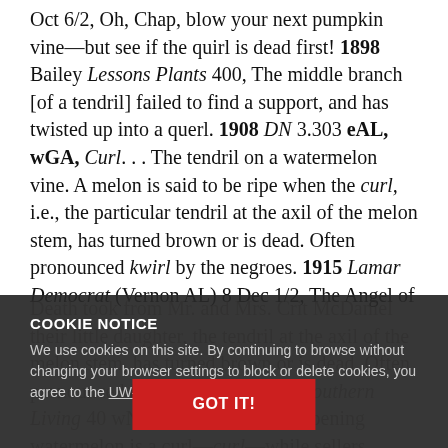Oct 6/2, Oh, Chap, blow your next pumpkin vine—but see if the quirl is dead first! 1898 Bailey Lessons Plants 400, The middle branch [of a tendril] failed to find a support, and has twisted up into a querl. 1908 DN 3.303 eAL, wGA, Curl. . . The tendril on a watermelon vine. A melon is said to be ripe when the curl, i.e., the particular tendril at the axil of the melon stem, has turned brown or is dead. Often pronounced kwirl by the negroes. 1915 Lamar Democrat (Vernon AL) 8 Dec 1/2, The Angel of
COOKIE NOTICE
We use cookies on this site. By continuing to browse without changing your browser settings to block or delete cookies, you agree to the UW–Madison Privacy Notice.